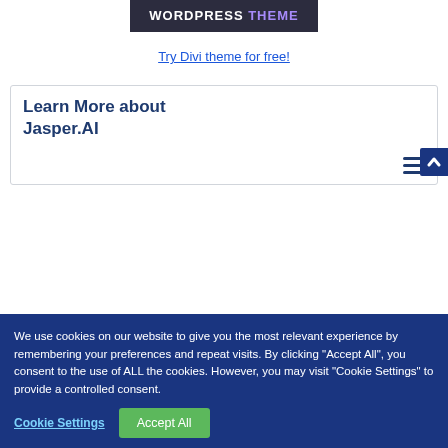[Figure (screenshot): WordPress theme banner image showing 'WORDPRESS THEME' text in white/purple on dark background]
Try Divi theme for free!
Learn More about Jasper.AI
We use cookies on our website to give you the most relevant experience by remembering your preferences and repeat visits. By clicking "Accept All", you consent to the use of ALL the cookies. However, you may visit "Cookie Settings" to provide a controlled consent.
Cookie Settings
Accept All